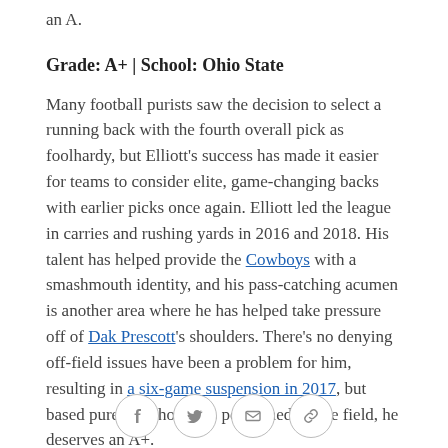an A.
Grade: A+ | School: Ohio State
Many football purists saw the decision to select a running back with the fourth overall pick as foolhardy, but Elliott's success has made it easier for teams to consider elite, game-changing backs with earlier picks once again. Elliott led the league in carries and rushing yards in 2016 and 2018. His talent has helped provide the Cowboys with a smashmouth identity, and his pass-catching acumen is another area where he has helped take pressure off of Dak Prescott's shoulders. There's no denying off-field issues have been a problem for him, resulting in a six-game suspension in 2017, but based purely on how he's performed on the field, he deserves an A+.
[Figure (other): Social sharing icons: Facebook, Twitter, Email, Link]